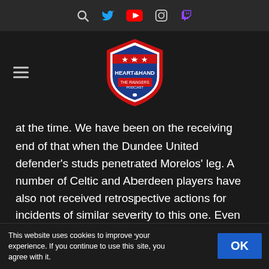[Figure (logo): Social media icon bar with search, Twitter, YouTube, Instagram, and Twitch icons on dark background]
[Figure (logo): Heart & Hand - The Rangers Podcast shield logo in blue, red, and white with a star, on dark background. Hamburger menu icon to the left.]
at the time. We have been on the receiving end of that when the Dundee United defender's studs penetrated Morelos' leg. A number of Celtic and Aberdeen players have also not received retrospective actions for incidents of similar severity to this one. Even Steven Naismith's stamp on Scott Brown in the Scottish Cup final was not given anywhere near the same level of attention as this. This is not whataboutery. As I said, we were lucky for Alfredo to still be on the park, and if he is punished after the fact then it will be difficult for us to
This website uses cookies to improve your experience. If you continue to use this site, you agree with it.